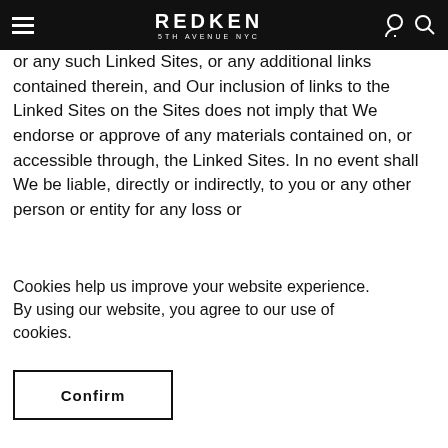REDKEN 5TH AVENUE NYC
or any such Linked Sites, or any additional links contained therein, and Our inclusion of links to the Linked Sites on the Sites does not imply that We endorse or approve of any materials contained on, or accessible through, the Linked Sites. In no event shall We be liable, directly or indirectly, to you or any other person or entity for any loss or
Cookies help us improve your website experience.
By using our website, you agree to our use of cookies.
Confirm